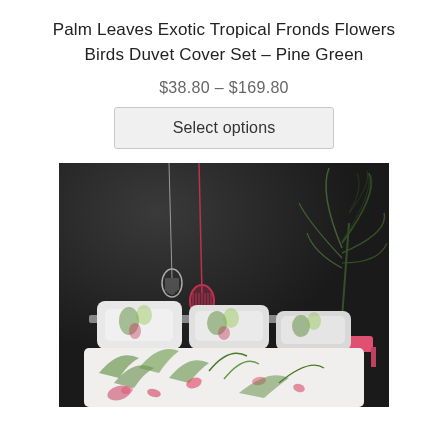Palm Leaves Exotic Tropical Fronds Flowers Birds Duvet Cover Set – Pine Green
$38.80 – $169.80
Select options
[Figure (photo): Bedroom scene with dark charcoal walls, a bed dressed in white tropical palm leaf and bird print duvet cover and pillows, two decorative pendant light bulbs hanging from the ceiling, and a large palm plant in a glass vase on a pink/coral side table.]